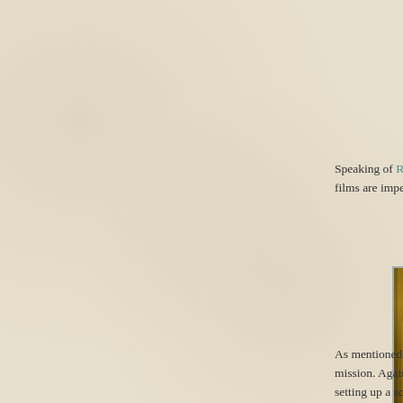Speaking of Ro... films are impec...
[Figure (photo): A partially visible vertical photograph with golden/brown tones, appearing to show a framed image, cropped at the right edge of the page.]
As mentioned, the mission. Again, setting up a sce... Also refreshing driven or action...